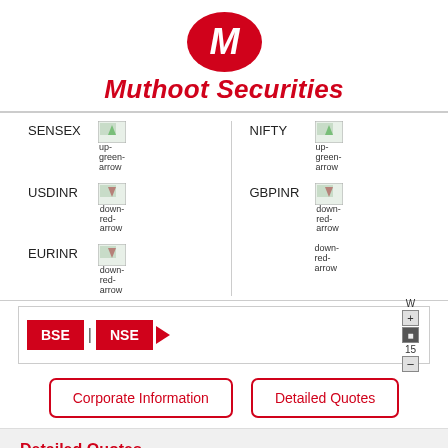[Figure (logo): Muthoot Securities logo with red oval M emblem and red italic brand name]
SENSEX  [up-green-arrow image]    NIFTY  [up-green-arrow image]
USDINR  [down-red-arrow image]   GBPINR  [down-red-arrow image]
EURINR  [down-red-arrow image]
BSE | NSE ▶   W  15  + - controls
Corporate Information    Detailed Quotes
Detailed Quotes